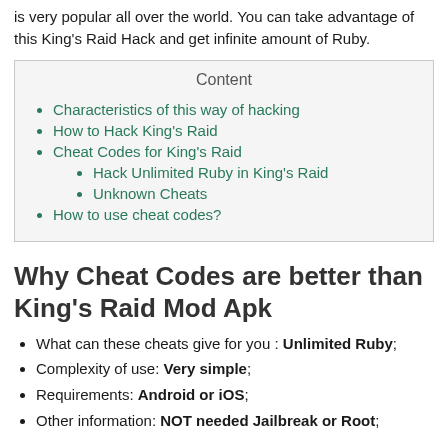is very popular all over the world. You can take advantage of this King's Raid Hack and get infinite amount of Ruby.
Characteristics of this way of hacking
How to Hack King's Raid
Cheat Codes for King's Raid
Hack Unlimited Ruby in King's Raid
Unknown Cheats
How to use cheat codes?
Why Cheat Codes are better than King's Raid Mod Apk
What can these cheats give for you : Unlimited Ruby;
Complexity of use: Very simple;
Requirements: Android or iOS;
Other information: NOT needed Jailbreak or Root;